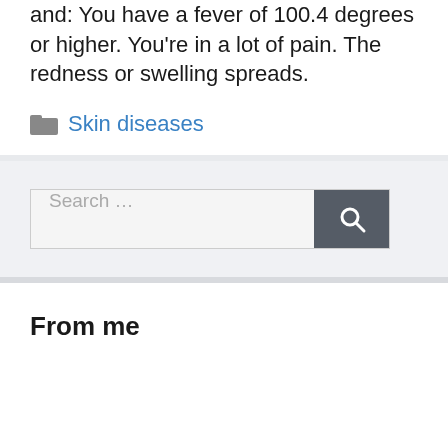and: You have a fever of 100.4 degrees or higher. You're in a lot of pain. The redness or swelling spreads.
Skin diseases
Search ...
From me